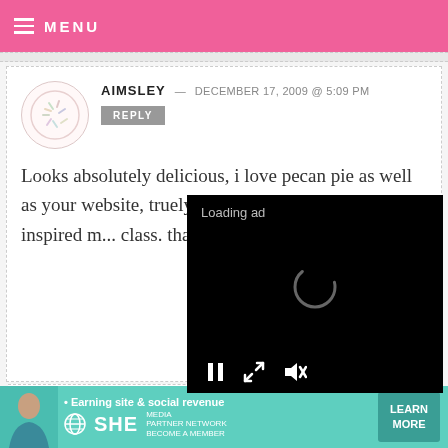MENU
AIMSLEY — DECEMBER 17, 2009 @ 5:09 PM
REPLY
Looks absolutely delicious, i love pecan pie as well as your website, truely inspiratio... your web... inspired m... class. tha...
[Figure (screenshot): Black video player overlay with 'Loading ad' text, spinner, pause button, expand button, and mute button]
[Figure (screenshot): Teal advertisement banner for SHE Partner Network with text 'Earning site & social revenue', SHE Media logo, and LEARN MORE button]